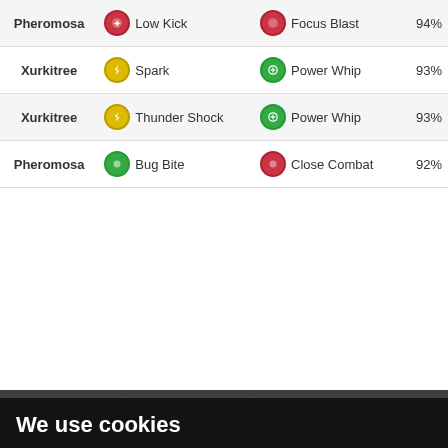| Pokémon | Fast Move | Charged Move | % |
| --- | --- | --- | --- |
| Pheromosa | Low Kick | Focus Blast | 94% |
| Xurkitree | Spark | Power Whip | 93% |
| Xurkitree | Thunder Shock | Power Whip | 93% |
| Pheromosa | Bug Bite | Close Combat | 92% |
| Pheromosa | Low Kick | Bug Buzz | 92% |
| Lucario | Counter | Aura Sphere | 91% |
We use cookies
We use cookies and other tracking technologies to improve your browsing experience on our website, to show you personalized content and targeted ads, to analyze our website traffic, and to understand where our visitors are coming from. By browsing our website, you consent to our use of cookies and other tracking technologies.
I agree
Change my preferences